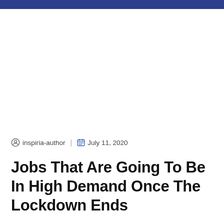inspiria-author  |  July 11, 2020
Jobs That Are Going To Be In High Demand Once The Lockdown Ends